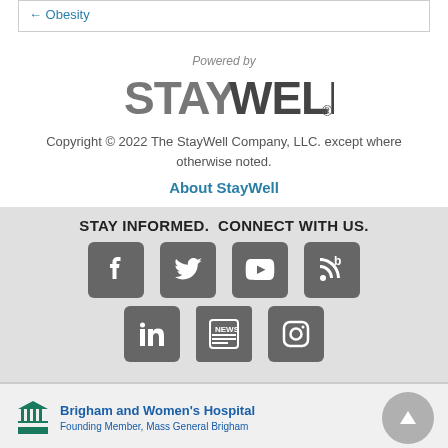Obesity
Powered by
[Figure (logo): StayWell logo in large gray text]
Copyright © 2022 The StayWell Company, LLC. except where otherwise noted.
About StayWell
STAY INFORMED.  CONNECT WITH US.
[Figure (infographic): Social media icons: Facebook, Twitter, YouTube, Blog, LinkedIn, News, Instagram]
[Figure (logo): Brigham and Women's Hospital logo with text: Founding Member, Mass General Brigham]